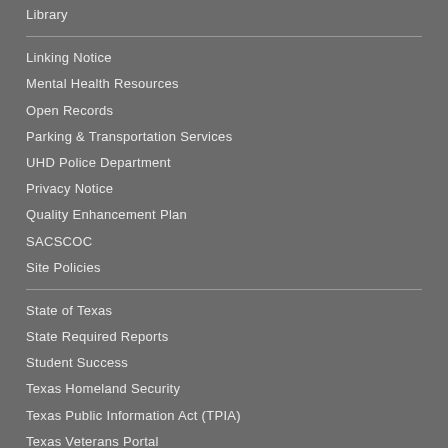Library
Linking Notice
Mental Health Resources
Open Records
Parking & Transportation Services
UHD Police Department
Privacy Notice
Quality Enhancement Plan
SACSCOC
Site Policies
State of Texas
State Required Reports
Student Success
Texas Homeland Security
Texas Public Information Act (TPIA)
Texas Veterans Portal
TRAIL (Statewide Search)
Title IX/Sexual Misconduct Reporting & Awareness